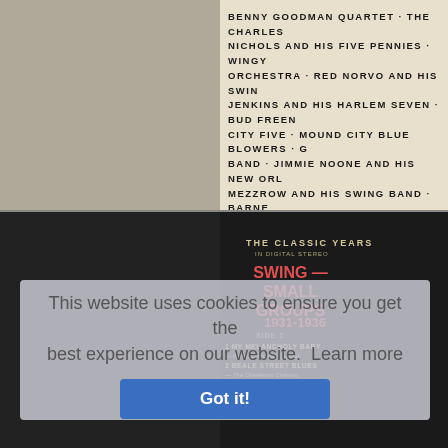BENNY GOODMAN QUARTET · THE CHARLES NICHOLS AND HIS FIVE PENNIES · WINGY ORCHESTRA · RED NORVO AND HIS SWIN JENKINS AND HIS HARLEM SEVEN · BUD FREEN CITY FIVE · MOUND CITY BLUE BLOWERS · G BAND · JIMMIE NOONE AND HIS NEW ORL MEZZROW AND HIS SWING BAND · BARNE JAZZOPATORS · TEDDY WILSON AND HIS G BERIGAN AND HIS BOYS · FATS WALLER AND H SMITH INCORPORATED
THE CLASSIC YEARS
IN DIGITAL STEREO
SWING — SMALL GROUPS
1931-1936
SIDE 1
1 MY MELANCHOLY BABY
— Benny Goodman Quartet
2 BEALE STREET BLUES
— The Charleston Chasers
3 FAN IT
— Red Nichols and His Five Pennies
4 NEVER HAD NO LOVIN
— Wingy Manone and his Orchestra
5 TOMBOY
6 TOLEDO SHUFFLE
— Freddie Jenkins and his Harlem...
7 Bud Freeman and his Windy City Five
8 MUSKRAT RAMBLE
Mound City Blue Blowers
This website uses cookies to ensure you get the best experience on our website.  Learn more
Got it!